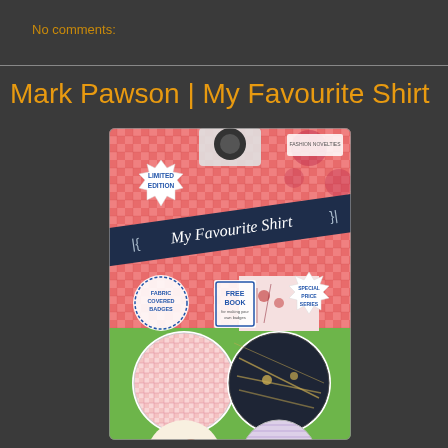No comments:
Mark Pawson | My Favourite Shirt
[Figure (photo): Product packaging for 'My Favourite Shirt' fabric covered badges - Limited Edition set, showing a pack with 4 circular fabric-covered badges in a green tray, with decorative patterned fabric samples. The packaging has a dark navy diagonal banner reading 'My Favourite Shirt', a 'Limited Edition' starburst badge, 'Fabric Covered Badges' circle badge, 'Free Book' and 'Special Price Series' labels on red gingham/floral background.]